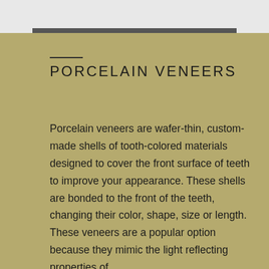PORCELAIN VENEERS
Porcelain veneers are wafer-thin, custom-made shells of tooth-colored materials designed to cover the front surface of teeth to improve your appearance. These shells are bonded to the front of the teeth, changing their color, shape, size or length. These veneers are a popular option because they mimic the light reflecting properties of